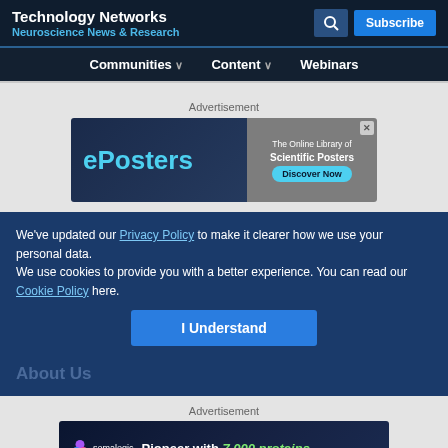Technology Networks
Neuroscience News & Research
Communities ∨  Content ∨  Webinars
[Figure (screenshot): ePosters advertisement banner - The Online Library of Scientific Posters, Discover Now]
We've updated our Privacy Policy to make it clearer how we use your personal data.
We use cookies to provide you with a better experience. You can read our Cookie Policy here.
I Understand
About Us
Advertisement
[Figure (screenshot): Somalogic advertisement - Pioneer with 7,000 proteins]